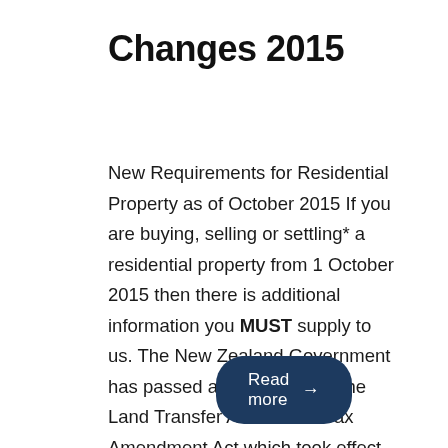Changes 2015
New Requirements for Residential Property as of October 2015 If you are buying, selling or settling* a residential property from 1 October 2015 then there is additional information you MUST supply to us. The New Zealand Government has passed amendments to the Land Transfer Act and the Tax Amendment Act which took effect from 1 [...]
Read more →